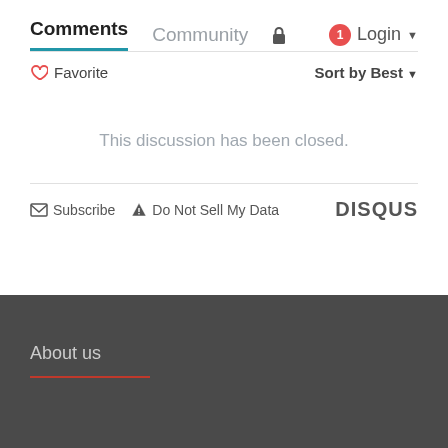Comments  Community  Login
♡ Favorite    Sort by Best
This discussion has been closed.
Subscribe  Do Not Sell My Data  DISQUS
About us